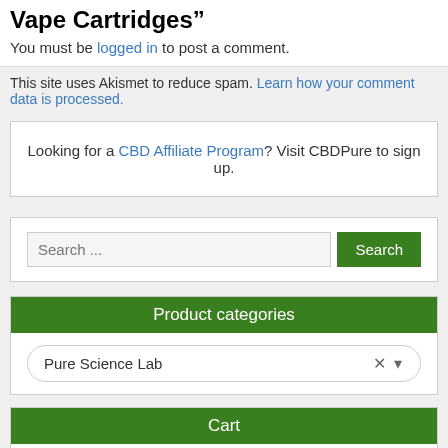Vape Cartridges”
You must be logged in to post a comment.
This site uses Akismet to reduce spam. Learn how your comment data is processed.
Looking for a CBD Affiliate Program? Visit CBDPure to sign up.
Search ...
Product categories
Pure Science Lab
Cart
No products in the cart.
Happy Hempy Newsletter